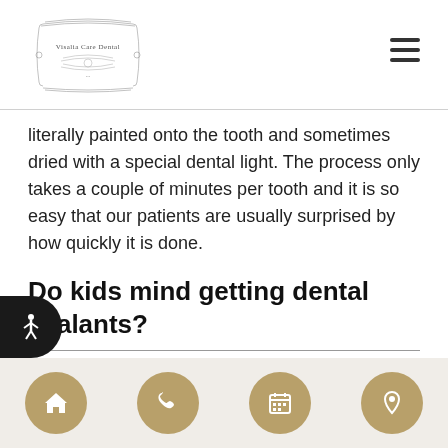Visalia Care Dental
literally painted onto the tooth and sometimes dried with a special dental light. The process only takes a couple of minutes per tooth and it is so easy that our patients are usually surprised by how quickly it is done.
Do kids mind getting dental sealants?
Typically, no. The process is easy, fast, and comfortable. There is no drilling or invasive preparation and the sealant itself does not cause any irritation or smell funny. It is truly an easy way to